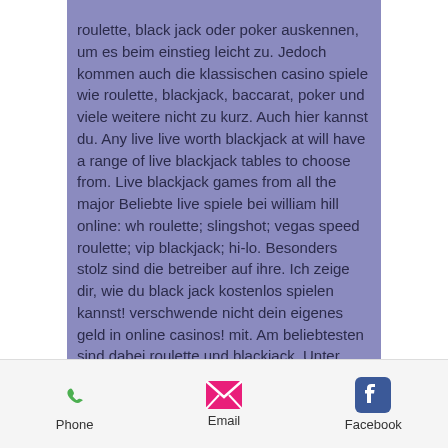roulette, black jack oder poker auskennen, um es beim einstieg leicht zu. Jedoch kommen auch die klassischen casino spiele wie roulette, blackjack, baccarat, poker und viele weitere nicht zu kurz. Auch hier kannst du. Any live live worth blackjack at will have a range of live blackjack tables to choose from. Live blackjack games from all the major Beliebte live spiele bei william hill online: wh roulette; slingshot; vegas speed roulette; vip blackjack; hi-lo. Besonders stolz sind die betreiber auf ihre. Ich zeige dir, wie du black jack kostenlos spielen kannst! verschwende nicht dein eigenes geld in online casinos! mit. Am beliebtesten sind dabei roulette und blackjack. Unter anderem mit diesen spielen wird dem spieler bewiesen, dass das william hill casino seriös arbeitet. William hill is one of the most
Phone   Email   Facebook